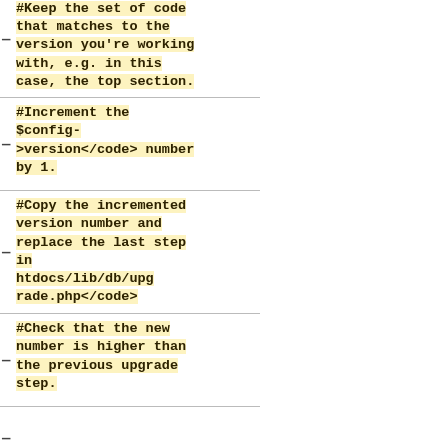#Keep the set of code that matches to the version you're working with, e.g. in this case, the top section.
#Increment the <code>$config->version</code> number by 1.
#Copy the incremented version number and replace the last step in <code>htdocs/lib/db/upgrade.php</code>
#Check that the new number is higher than the previous upgrade step.